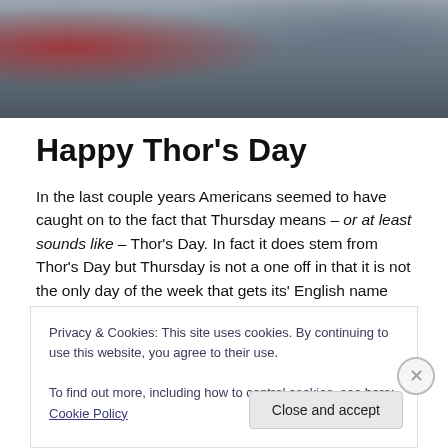[Figure (photo): Action movie still showing a superhero in red cape (Thor) in a dramatic action scene against a grey/blue stormy background]
Happy Thor's Day
In the last couple years Americans seemed to have caught on to the fact that Thursday means – or at least sounds like – Thor's Day. In fact it does stem from Thor's Day but Thursday is not a one off in that it is not the only day of the week that gets its' English name from the Nordic mythos.
It might come as a surprise to many people out there that
Privacy & Cookies: This site uses cookies. By continuing to use this website, you agree to their use.
To find out more, including how to control cookies, see here: Cookie Policy
Close and accept